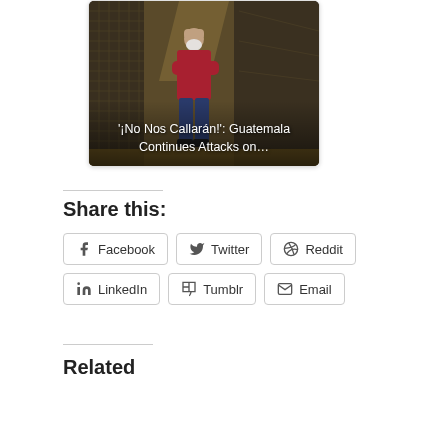[Figure (photo): A person in a red shirt and white mask stands with arms crossed in a dimly lit indoor space with metal mesh walls. Overlay text reads: '¡No Nos Callarán!': Guatemala Continues Attacks on…]
Share this:
Facebook  Twitter  Reddit  LinkedIn  Tumblr  Email
Related